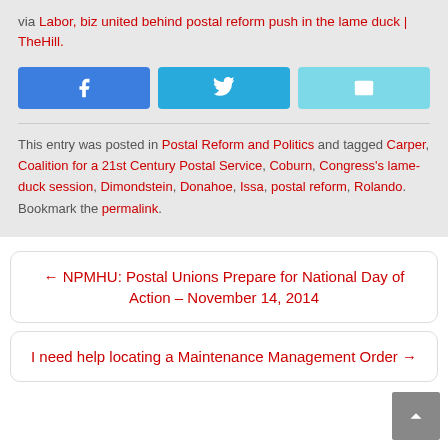via Labor, biz united behind postal reform push in the lame duck | TheHill.
[Figure (other): Social share buttons: Facebook (blue), Twitter (light blue), Email (cyan)]
This entry was posted in Postal Reform and Politics and tagged Carper, Coalition for a 21st Century Postal Service, Coburn, Congress's lame-duck session, Dimondstein, Donahoe, Issa, postal reform, Rolando. Bookmark the permalink.
← NPMHU: Postal Unions Prepare for National Day of Action – November 14, 2014
I need help locating a Maintenance Management Order →